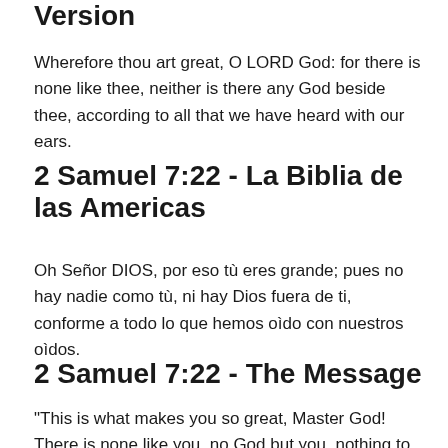Version
Wherefore thou art great, O LORD God: for there is none like thee, neither is there any God beside thee, according to all that we have heard with our ears.
2 Samuel 7:22 - La Biblia de las Americas
Oh Señor DIOS, por eso tù eres grande; pues no hay nadie como tù, ni hay Dios fuera de ti, conforme a todo lo que hemos oìdo con nuestros oìdos.
2 Samuel 7:22 - The Message
"This is what makes you so great, Master God! There is none like you, no God but you, nothing to compare with what we've heard with our own ears. And who is like your people, like Israel, a nation unique in the earth, whom